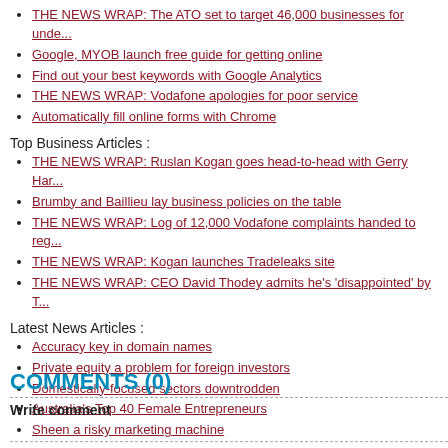THE NEWS WRAP: The ATO set to target 46,000 businesses for unde...
Google, MYOB launch free guide for getting online
Find out your best keywords with Google Analytics
THE NEWS WRAP: Vodafone apologies for poor service
Automatically fill online forms with Chrome
Top Business Articles :
THE NEWS WRAP: Ruslan Kogan goes head-to-head with Gerry Har...
Brumby and Baillieu lay business policies on the table
THE NEWS WRAP: Log of 12,000 Vodafone complaints handed to reg...
THE NEWS WRAP: Kogan launches Tradeleaks site
THE NEWS WRAP: CEO David Thodey admits he's 'disappointed' by T...
Latest News Articles :
Accuracy key in domain names
Private equity a problem for foreign investors
Domestically-focused sectors downtrodden
Australia's Top 40 Female Entrepreneurs
Sheen a risky marketing machine
COMMENTS (0)
Write comment